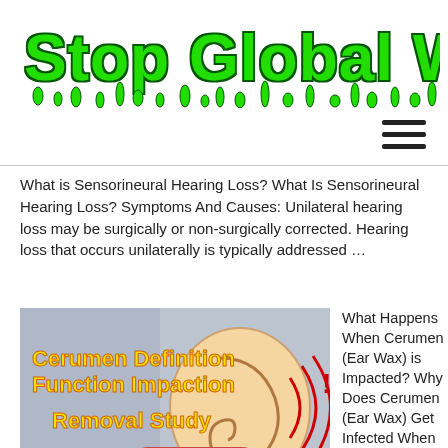Stop Global Warming
What is Sensorineural Hearing Loss? What Is Sensorineural Hearing Loss? Symptoms And Causes: Unilateral hearing loss may be surgically or non-surgically corrected. Hearing loss that occurs unilaterally is typically addressed ...
[Figure (illustration): Promotional image for 'Cerumen Definition Function Impaction Removal Study' with an ear illustration and 'Contact Us' button on a grey background.]
What Happens When Cerumen (Ear Wax) is Impacted? Why Does Cerumen (Ear Wax) Get Infected When It's Impacted This article should